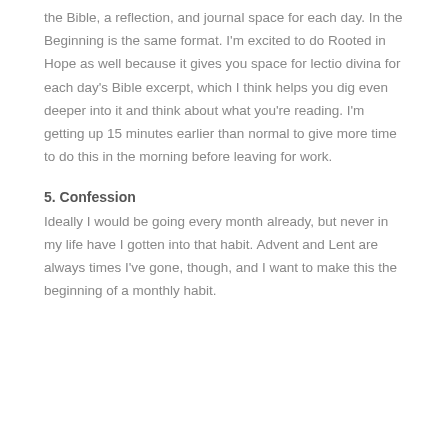the Bible, a reflection, and journal space for each day. In the Beginning is the same format. I'm excited to do Rooted in Hope as well because it gives you space for lectio divina for each day's Bible excerpt, which I think helps you dig even deeper into it and think about what you're reading. I'm getting up 15 minutes earlier than normal to give more time to do this in the morning before leaving for work.
5. Confession
Ideally I would be going every month already, but never in my life have I gotten into that habit. Advent and Lent are always times I've gone, though, and I want to make this the beginning of a monthly habit.